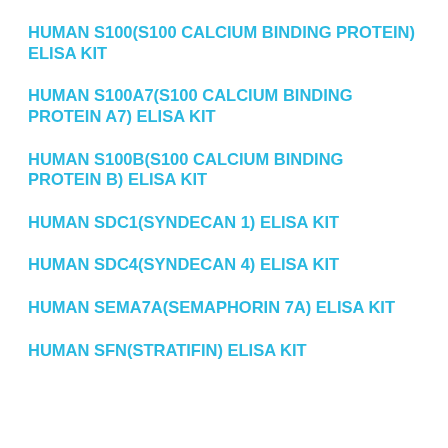HUMAN S100(S100 CALCIUM BINDING PROTEIN) ELISA KIT
HUMAN S100A7(S100 CALCIUM BINDING PROTEIN A7) ELISA KIT
HUMAN S100B(S100 CALCIUM BINDING PROTEIN B) ELISA KIT
HUMAN SDC1(SYNDECAN 1) ELISA KIT
HUMAN SDC4(SYNDECAN 4) ELISA KIT
HUMAN SEMA7A(SEMAPHORIN 7A) ELISA KIT
HUMAN SFN(STRATIFIN) ELISA KIT